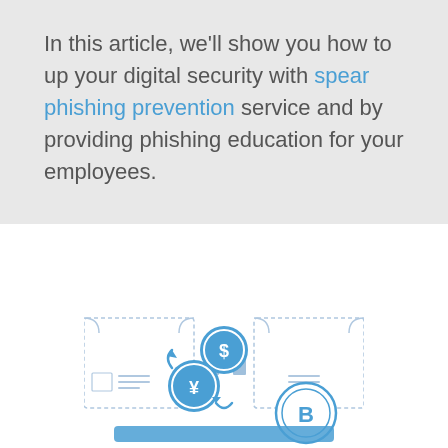In this article, we'll show you how to up your digital security with spear phishing prevention service and by providing phishing education for your employees.
[Figure (illustration): A flat-style illustration showing financial/cryptocurrency icons: coins with dollar sign, yen sign, and Bitcoin symbol, along with arrows indicating currency exchange, set against a light blue background suggesting a digital finance dashboard.]